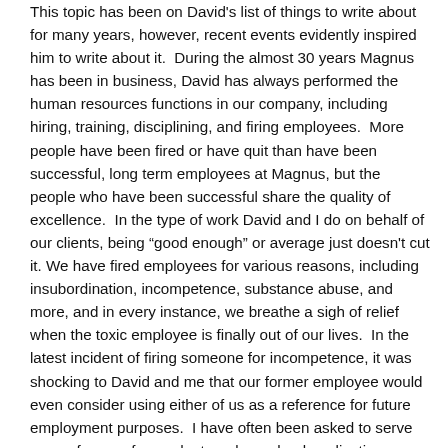This topic has been on David's list of things to write about for many years, however, recent events evidently inspired him to write about it.  During the almost 30 years Magnus has been in business, David has always performed the human resources functions in our company, including hiring, training, disciplining, and firing employees.  More people have been fired or have quit than have been successful, long term employees at Magnus, but the people who have been successful share the quality of excellence.  In the type of work David and I do on behalf of our clients, being “good enough” or average just doesn't cut it. We have fired employees for various reasons, including insubordination, incompetence, substance abuse, and more, and in every instance, we breathe a sigh of relief when the toxic employee is finally out of our lives.  In the latest incident of firing someone for incompetence, it was shocking to David and me that our former employee would even consider using either of us as a reference for future employment purposes.  I have often been asked to serve as a reference for graduate or law school applications, military security clearance, and employment, however, I am willing to provide a reference only if it will benefit the person who asked me.  I would never